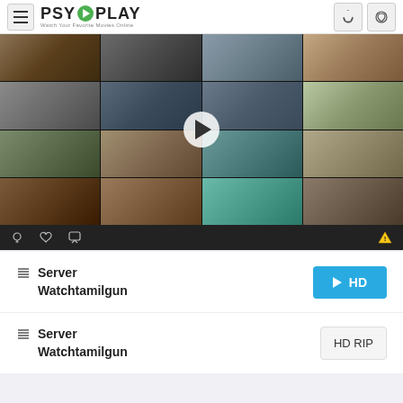PSY PLAY - Watch Your Favorite Movies Online
[Figure (screenshot): Video player showing a mosaic of movie scene thumbnails in a 4x4 grid with a play button overlay in the center, and a control bar at the bottom with icons for light, heart, comment, and warning.]
Server Watchtamilgun
HD
Server Watchtamilgun
HD RIP